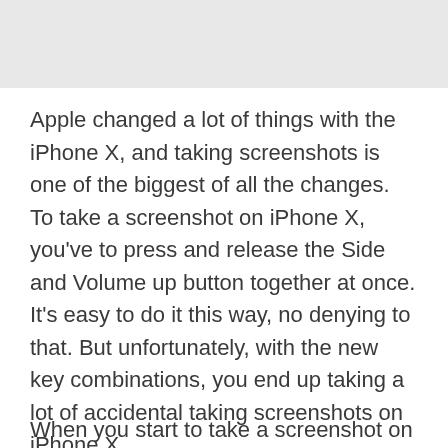[Figure (screenshot): Gray header area representing the top portion of a mobile webpage or app]
Apple changed a lot of things with the iPhone X, and taking screenshots is one of the biggest of all the changes. To take a screenshot on iPhone X, you've to press and release the Side and Volume up button together at once. It's easy to do it this way, no denying to that. But unfortunately, with the new key combinations, you end up taking a lot of accidental taking screenshots on iPhone X.
When you start to take a screenshot on the...